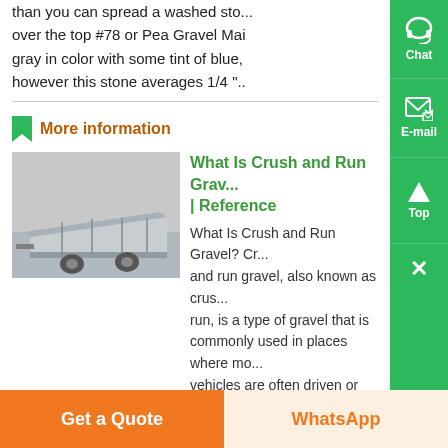than you can spread a washed stone over the top #78 or Pea Gravel Mai gray in color with some tint of blue, however this stone averages 1/4 "..
More information
[Figure (photo): A metal dump trailer or utility trailer bed, silver/grey colored, photographed in an industrial or warehouse setting.]
What Is Crush and Run Gravel? | Reference
What Is Crush and Run Gravel? Crush and run gravel, also known as crusher run, is a type of gravel that is commonly used in places where motor vehicles are often driven or parked. Crush and run gravel is widely used...